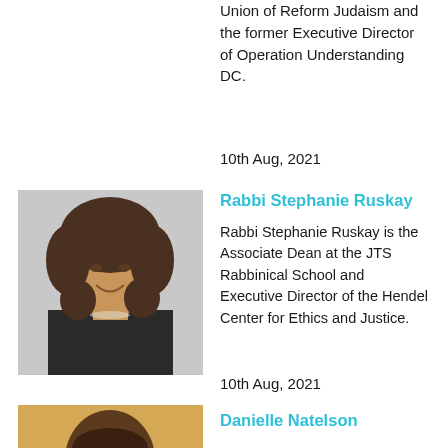Union of Reform Judaism and the former Executive Director of Operation Understanding DC.
10th Aug, 2021
[Figure (photo): Portrait photo of Rabbi Stephanie Ruskay, a woman with curly hair, smiling, wearing dark clothing]
Rabbi Stephanie Ruskay
Rabbi Stephanie Ruskay is the Associate Dean at the JTS Rabbinical School and Executive Director of the Hendel Center for Ethics and Justice.
10th Aug, 2021
[Figure (photo): Partial portrait photo of Danielle Natelson, shown from top of head, warm toned background]
Danielle Natelson